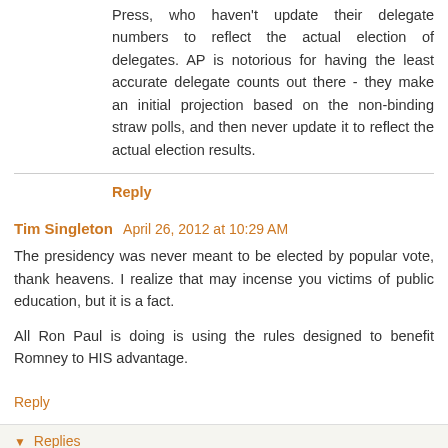Press, who haven't update their delegate numbers to reflect the actual election of delegates. AP is notorious for having the least accurate delegate counts out there - they make an initial projection based on the non-binding straw polls, and then never update it to reflect the actual election results.
Reply
Tim Singleton   April 26, 2012 at 10:29 AM
The presidency was never meant to be elected by popular vote, thank heavens. I realize that may incense you victims of public education, but it is a fact.
All Ron Paul is doing is using the rules designed to benefit Romney to HIS advantage.
Reply
▾ Replies